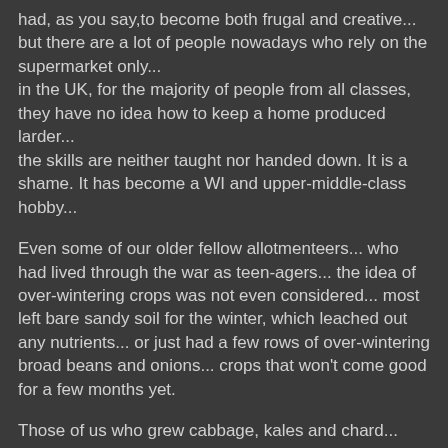had, as you say,to become both frugal and creative... but there are a lot of people nowadays who rely on the supermarket only... in the UK, for the majority of people from all classes, they have no idea how to keep a home produced larder... the skills are neither taught nor handed down. It is a shame. It has become a WI and upper-middle-class hobby...
Even some of our older fellow allotmenteers... who had lived through the war as teen-agers... the idea of over-wintering crops was not even considered... most left bare sandy soil for the winter, which leached out any nutrients... or just had a few rows of over-wintering broad beans and onions... crops that won't come good for a few months yet.
Those of us who grew cabbage, kales and chard... and had winter root crops... were looked upon with both surprise and amusement... I often wonder what would happen if supermarkets suddenly vanished!?